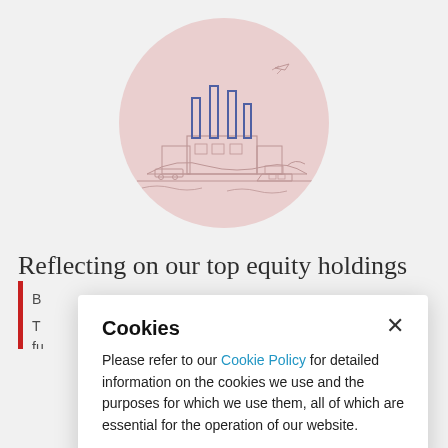[Figure (illustration): Circular pink illustration showing an industrial facility with chimneys/smokestacks in blue, ships on water, vehicles, and an airplane flying overhead — a line-art style depiction of a port/industrial scene.]
Reflecting on our top equity holdings
B...
T... fu... s...
Cookies

Please refer to our Cookie Policy for detailed information on the cookies we use and the purposes for which we use them, all of which are essential for the operation of our website.